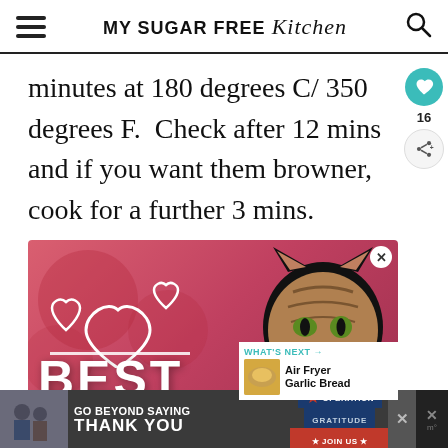MY SUGAR FREE Kitchen
minutes at 180 degrees C/ 350 degrees F.  Check after 12 mins and if you want them browner, cook for a further 3 mins.
[Figure (screenshot): Advertisement showing a cat on a pink background with hearts and the text BEST]
WHAT'S NEXT → Air Fryer Garlic Bread
[Figure (screenshot): Bottom banner advertisement: GO BEYOND SAYING THANK YOU - Operation Gratitude JOIN US]